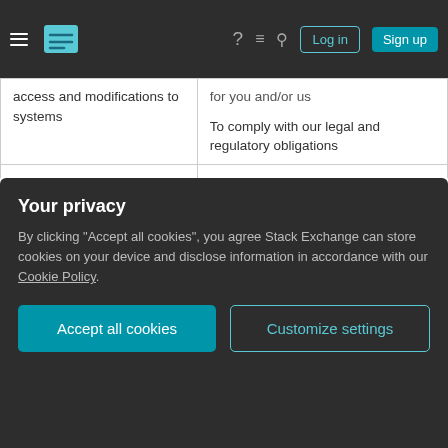Stack Exchange navigation bar with hamburger menu, logo, help, chat, search icons, Log in and Sign up buttons
| Activity/Purpose | Lawful basis |
| --- | --- |
| access and modifications to systems | ...for you and/or us
To comply with our legal and regulatory obligations |
| Updating and enhancing customer records | To perform our contract with you or to take steps at your request before entering into a contract
To comply with our legal and regulatory obligations
For our legitimate interests or |
Your privacy
By clicking "Accept all cookies", you agree Stack Exchange can store cookies on your device and disclose information in accordance with our Cookie Policy.
Accept all cookies   Customize settings
regulatory obligations